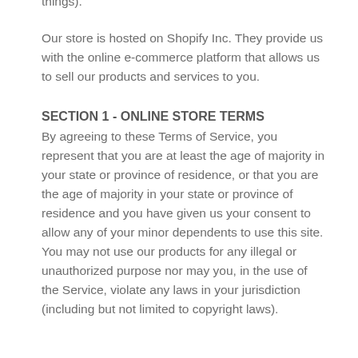things).
Our store is hosted on Shopify Inc. They provide us with the online e-commerce platform that allows us to sell our products and services to you.
SECTION 1 - ONLINE STORE TERMS
By agreeing to these Terms of Service, you represent that you are at least the age of majority in your state or province of residence, or that you are the age of majority in your state or province of residence and you have given us your consent to allow any of your minor dependents to use this site.
You may not use our products for any illegal or unauthorized purpose nor may you, in the use of the Service, violate any laws in your jurisdiction (including but not limited to copyright laws).